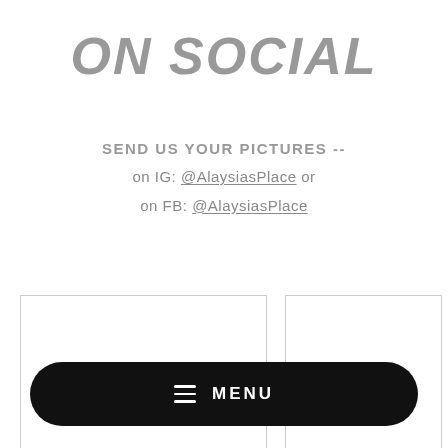ON SOCIAL
SEND US YOUR PICTURES --
on IG: @AlaysiasPlace or
on FB: @AlaysiasPlace
[Figure (photo): Two image placeholder boxes side by side, white with light gray borders]
[Figure (screenshot): Black rounded rectangle menu bar with hamburger icon and MENU label in white]